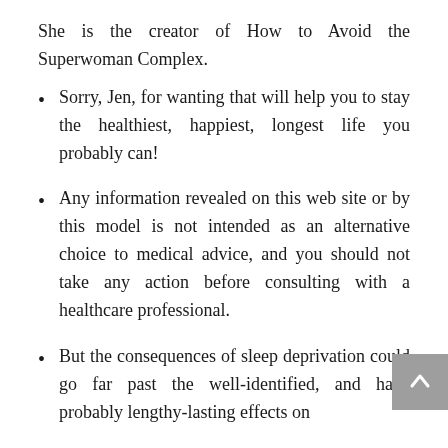She is the creator of How to Avoid the Superwoman Complex.
Sorry, Jen, for wanting that will help you to stay the healthiest, happiest, longest life you probably can!
Any information revealed on this web site or by this model is not intended as an alternative choice to medical advice, and you should not take any action before consulting with a healthcare professional.
But the consequences of sleep deprivation could go far past the well-identified, and have probably lengthy-lasting effects on